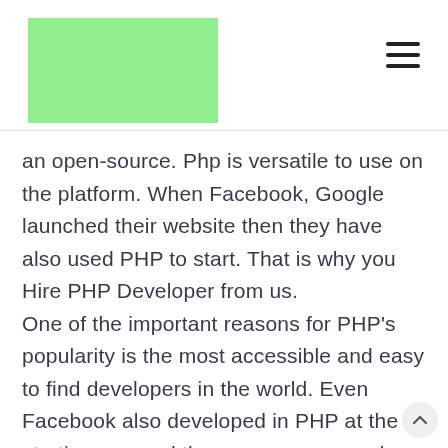[Figure (other): Green rectangle logo placeholder in the top-left header area]
[Figure (other): Hamburger menu icon (three horizontal lines) in the top-right header area]
an open-source. Php is versatile to use on the platform. When Facebook, Google launched their website then they have also used PHP to start. That is why you Hire PHP Developer from us. One of the important reasons for PHP's popularity is the most accessible and easy to find developers in the world. Even Facebook also developed in PHP at the starting age and there are many popular websites in the world that are still using PHP as the main server side language to communicate with the user interface.